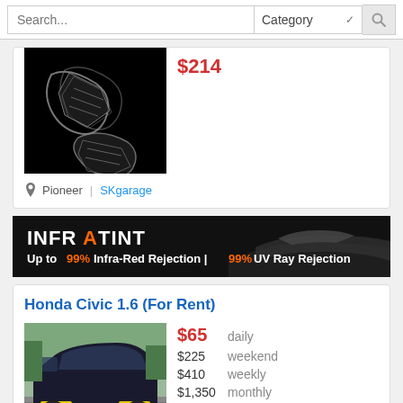Search... | Category | [search icon]
[Figure (photo): Black paddle shifters on black background]
$214
Pioneer | SKgarage
[Figure (photo): INFRATINT advertisement banner: Up to 99% Infra-Red Rejection | 99% UV Ray Rejection]
Honda Civic 1.6 (For Rent)
[Figure (photo): Dark blue Honda Civic sedan, front view, parked outdoors]
$65 daily
$225 weekend
$410 weekly
$1,350 monthly